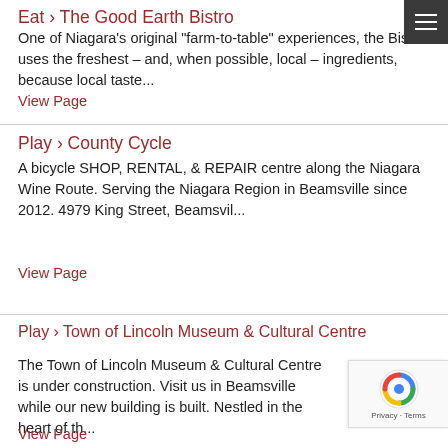Eat › The Good Earth Bistro
One of Niagara's original "farm-to-table" experiences, the Bistro uses the freshest – and, when possible, local – ingredients, because local taste...
View Page
Play › County Cycle
A bicycle SHOP, RENTAL, & REPAIR centre along the Niagara Wine Route. Serving the Niagara Region in Beamsville since 2012. 4979 King Street, Beamsvil...
View Page
Play › Town of Lincoln Museum & Cultural Centre
The Town of Lincoln Museum & Cultural Centre is under construction. Visit us in Beamsville while our new building is built. Nestled in the heart of th...
View Page